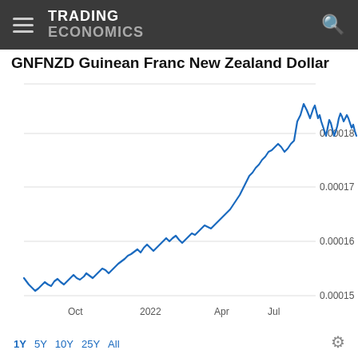TRADING ECONOMICS
GNFNZD Guinean Franc New Zealand Dollar
[Figure (continuous-plot): Line chart showing GNFNZD (Guinean Franc to New Zealand Dollar) exchange rate over 1 year from approximately July 2021 to July 2022. The rate starts around 0.000143, dips to a low near 0.000140, then rises with fluctuations through Oct 2021 around 0.000148-0.000150, continues upward through 2022 label to a local peak near 0.000170 in early 2022, dips to around 0.000163, then sharply rises through April 2022 to peaks near 0.000192-0.000195, pulls back to around 0.000172, then recovers slightly to around 0.000181. Y-axis labels: 0.00015, 0.00016, 0.00017, 0.00018. X-axis labels: Oct, 2022, Apr, Jul.]
1Y  5Y  10Y  25Y  All